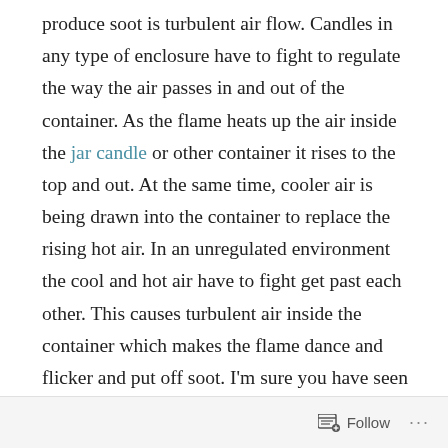produce soot is turbulent air flow. Candles in any type of enclosure have to fight to regulate the way the air passes in and out of the container. As the flame heats up the air inside the jar candle or other container it rises to the top and out. At the same time, cooler air is being drawn into the container to replace the rising hot air. In an unregulated environment the cool and hot air have to fight get past each other. This causes turbulent air inside the container which makes the flame dance and flicker and put off soot. I'm sure you have seen little round metal or ceramic disks called candle cappers. These have a large hole in the center and smaller holes around the outside. Other than being decorative these have a purpose which is to regulate the air flow in jar candles. The hot air come up through the center hole and the
Follow ...